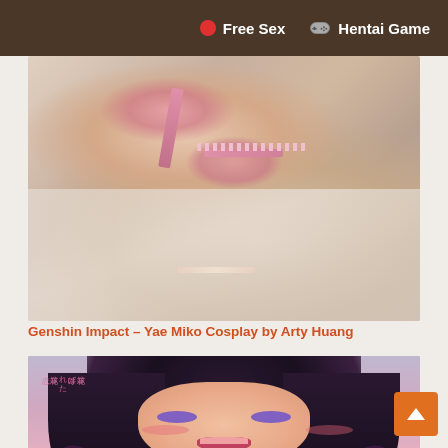Free Sex  Hentai Game
[Figure (photo): Cosplay photo of a person lying on white bedsheets wearing a pink bikini/lingerie set]
Genshin Impact – Yae Miko Cosplay by Arty Huang
[Figure (illustration): Anime-style illustration of a dark-haired girl with purple eyes wearing a collar and dark gloves, with Japanese text watermark in the top-left corner]